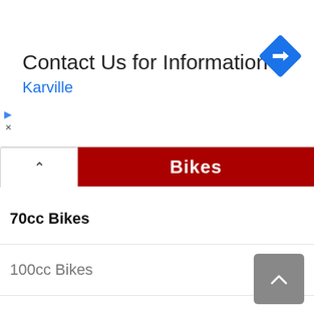Contact Us for Information
Karville
Bikes
70cc Bikes
100cc Bikes
125cc Bikes
150cc Bikes
200cc Bikes
Sports Bikes